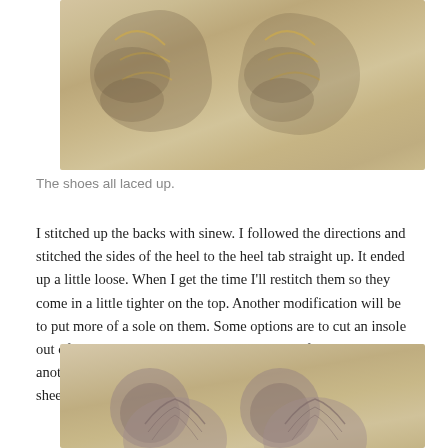[Figure (photo): Top-down view of two shoes with laces on a wooden surface]
The shoes all laced up.
I stitched up the backs with sinew. I followed the directions and stitched the sides of the heel to the heel tab straight up. It ended up a little loose. When I get the time I’ll restitch them so they come in a little tighter on the top. Another modification will be to put more of a sole on them. Some options are to cut an insole out of rawhide and sew it between the inside of the sole with another, softer leather insole on top. I might line it with some sheep skin, too.
[Figure (photo): Bottom photo showing the soles/bottoms of two handmade shoes from above on a wooden surface]